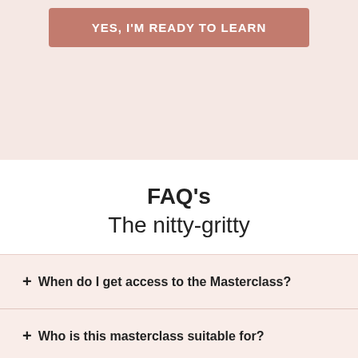[Figure (other): Pink button with text YES, I'M READY TO LEARN on a light pink background]
FAQ's
The nitty-gritty
+ When do I get access to the Masterclass?
+ Who is this masterclass suitable for?